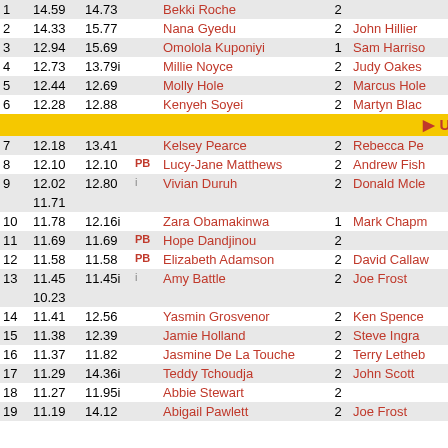| Rank | PB1 | PB2 |  | Name | Num | Coach |
| --- | --- | --- | --- | --- | --- | --- |
| 1 | 14.59 | 14.73 |  | Bekki Roche | 2 |  |
| 2 | 14.33 | 15.77 |  | Nana Gyedu | 2 | John Hillier |
| 3 | 12.94 | 15.69 |  | Omolola Kuponiyi | 1 | Sam Harrison |
| 4 | 12.73 | 13.79i |  | Millie Noyce | 2 | Judy Oakes |
| 5 | 12.44 | 12.69 |  | Molly Hole | 2 | Marcus Hole |
| 6 | 12.28 | 12.88 |  | Kenyeh Soyei | 2 | Martyn Blac... |
| UK 10 |  |  |  |  |  |  |
| 7 | 12.18 | 13.41 |  | Kelsey Pearce | 2 | Rebecca Pe... |
| 8 | 12.10 | 12.10 | PB | Lucy-Jane Matthews | 2 | Andrew Fish... |
| 9 | 12.02 | 12.80 |  | Vivian Duruh | 2 | Donald Mcle... |
|  | 11.71 |  |  |  |  |  |
| 10 | 11.78 | 12.16i |  | Zara Obamakinwa | 1 | Mark Chapm... |
| 11 | 11.69 | 11.69 | PB | Hope Dandjinou | 2 |  |
| 12 | 11.58 | 11.58 | PB | Elizabeth Adamson | 2 | David Callaw... |
| 13 | 11.45 | 11.45i | PB | Amy Battle | 2 | Joe Frost |
|  | 10.23 |  |  |  |  |  |
| 14 | 11.41 | 12.56 |  | Yasmin Grosvenor | 2 | Ken Spence... |
| 15 | 11.38 | 12.39 |  | Jamie Holland | 2 | Steve Ingra... |
| 16 | 11.37 | 11.82 |  | Jasmine De La Touche | 2 | Terry Letheb... |
| 17 | 11.29 | 14.36i |  | Teddy Tchoudja | 2 | John Scott |
| 18 | 11.27 | 11.95i |  | Abbie Stewart | 2 |  |
| 19 | 11.19 | 14.12 |  | Abigail Pawlett | 2 | Joe Frost |